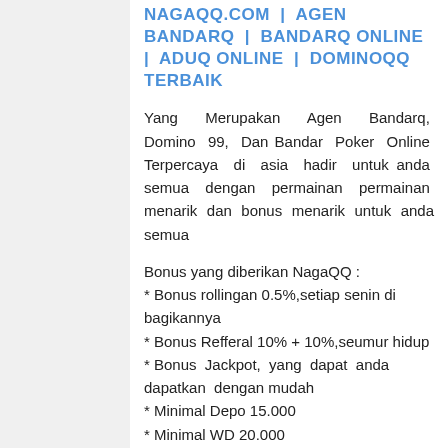NAGAQQ.COM | AGEN BANDARQ | BANDARQ ONLINE | ADUQ ONLINE | DOMINOQQ TERBAIK
Yang Merupakan Agen Bandarq, Domino 99, Dan Bandar Poker Online Terpercaya di asia hadir untuk anda semua dengan permainan permainan menarik dan bonus menarik untuk anda semua
Bonus yang diberikan NagaQQ :
* Bonus rollingan 0.5%,setiap senin di bagikannya
* Bonus Refferal 10% + 10%,seumur hidup
* Bonus Jackpot, yang dapat anda dapatkan dengan mudah
* Minimal Depo 15.000
* Minimal WD 20.000
Memegang Gelar atau title sebagai Agen BandarQ Terbaik di masanya